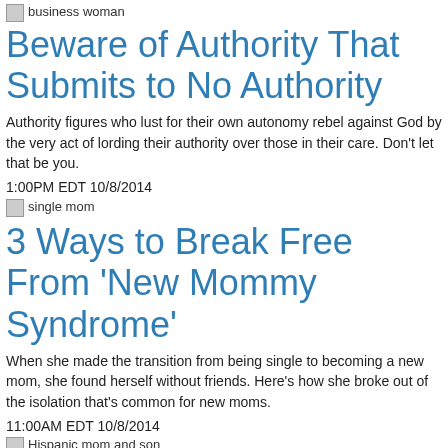[Figure (photo): Broken image placeholder labeled 'business woman']
Beware of Authority That Submits to No Authority
Authority figures who lust for their own autonomy rebel against God by the very act of lording their authority over those in their care. Don't let that be you.
1:00PM EDT 10/8/2014
[Figure (photo): Broken image placeholder labeled 'single mom']
3 Ways to Break Free From 'New Mommy Syndrome'
When she made the transition from being single to becoming a new mom, she found herself without friends. Here's how she broke out of the isolation that's common for new moms.
11:00AM EDT 10/8/2014
[Figure (photo): Broken image placeholder labeled 'Hispanic mom and son']